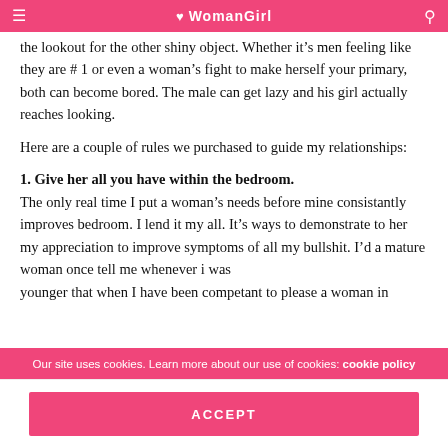WomanGirl
the lookout for the other shiny object. Whether it’s men feeling like they are # 1 or even a woman’s fight to make herself your primary, both can become bored. The male can get lazy and his girl actually reaches looking.
Here are a couple of rules we purchased to guide my relationships:
1. Give her all you have within the bedroom. The only real time I put a woman’s needs before mine consistantly improves bedroom. I lend it my all. It’s ways to demonstrate to her my appreciation to improve symptoms of all my bullshit. I’d a mature woman once tell me whenever i was younger that when I have been competant to please a woman in
Our site uses cookies. Learn more about our use of cookies: cookie policy
ACCEPT